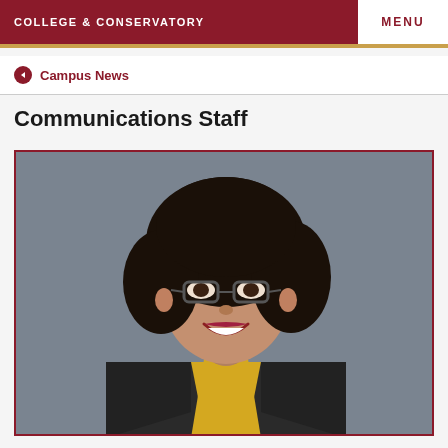COLLEGE & CONSERVATORY | MENU
Campus News
Communications Staff
[Figure (photo): Professional headshot of a smiling woman with curly black hair, wearing glasses, a yellow top and black blazer, against a grey background.]